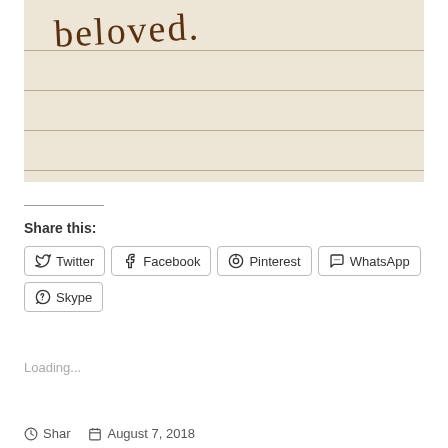[Figure (photo): Photo of lined paper with handwritten word 'beloved.' in brown cursive script]
Share this:
Twitter
Facebook
Pinterest
WhatsApp
Skype
Loading...
Shar   August 7, 2018